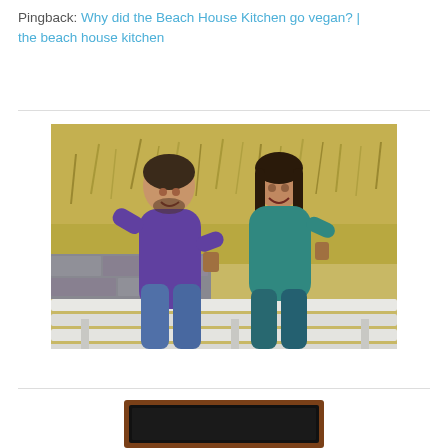Pingback: Why did the Beach House Kitchen go vegan? | the beach house kitchen
[Figure (photo): A man in a purple sweater and a woman in a teal/green top sitting on a white wooden bench outdoors, smiling at each other and sharing food. Background shows dry wild grass and a stone wall.]
[Figure (photo): Partial view of a framed chalkboard or wooden-framed sign, partially cropped at the bottom of the page.]